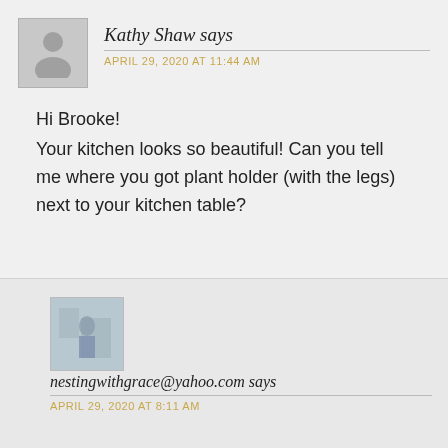Kathy Shaw says
APRIL 29, 2020 AT 11:44 AM
Hi Brooke!
Your kitchen looks so beautiful! Can you tell me where you got plant holder (with the legs) next to your kitchen table?
[Figure (photo): Small avatar photo of a person standing in a kitchen]
nestingwithgrace@yahoo.com says
APRIL 29, 2020 AT 8:11 AM